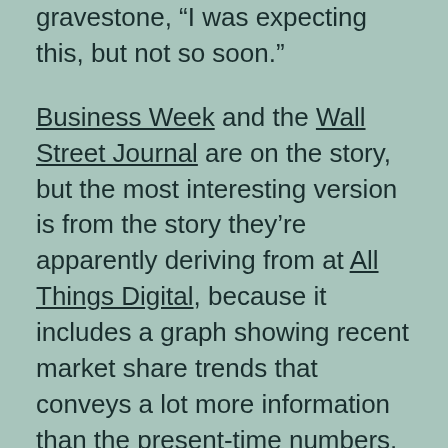gravestone, “I was expecting this, but not so soon.”
Business Week and the Wall Street Journal are on the story, but the most interesting version is from the story they’re apparently deriving from at All Things Digital, because it includes a graph showing recent market share trends that conveys a lot more information than the present-time numbers.
I’ve written before that I think Google has been running a long game aimed against the telecomms carriers’ preferred strategy of